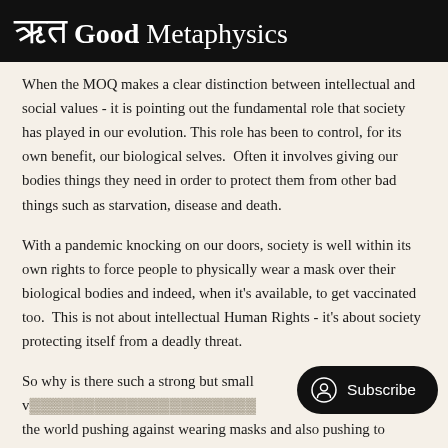ऋत Good Metaphysics
When the MOQ makes a clear distinction between intellectual and social values - it is pointing out the fundamental role that society has played in our evolution. This role has been to control, for its own benefit, our biological selves.  Often it involves giving our bodies things they need in order to protect them from other bad things such as starvation, disease and death.
With a pandemic knocking on our doors, society is well within its own rights to force people to physically wear a mask over their biological bodies and indeed, when it's available, to get vaccinated too.  This is not about intellectual Human Rights - it's about society protecting itself from a deadly threat.
So why is there such a strong but small v... the world pushing against wearing masks and also pushing to refuse vaccines?